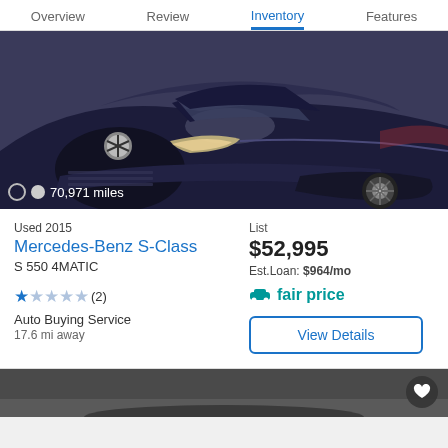Overview   Review   Inventory   Features
[Figure (photo): Dark navy blue Mercedes-Benz S-Class coupe, front three-quarter view, showing hood, headlights, grille, and front wheel. Text overlay: 70,971 miles with pagination dots.]
Used 2015
Mercedes-Benz S-Class
S 550 4MATIC
★★☆☆☆(2)
Auto Buying Service
17.6 mi away
List
$52,995
Est.Loan: $964/mo
🚗 fair price
View Details
[Figure (photo): Partial view of another vehicle listing at bottom of page, dark background.]